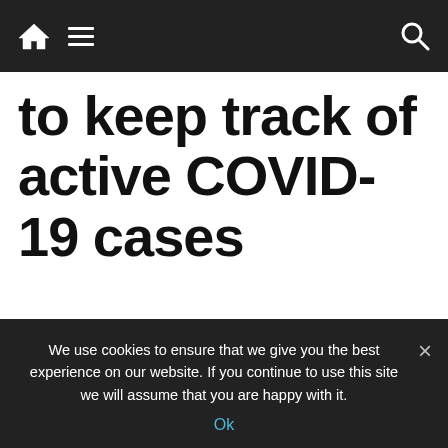[Navigation bar with home icon, menu icon, and search icon]
to keep track of active COVID-19 cases
[Figure (photo): A blonde woman wearing glasses and a white t-shirt looks at a smartphone while standing in a kitchen with green cabinetry.]
We use cookies to ensure that we give you the best experience on our website. If you continue to use this site we will assume that you are happy with it.
Ok